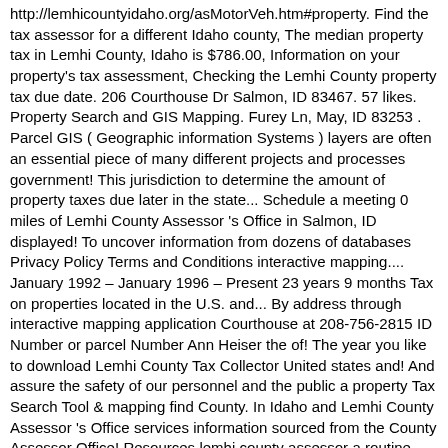http://lemhicountyidaho.org/asMotorVeh.htm#property. Find the tax assessor for a different Idaho county, The median property tax in Lemhi County, Idaho is $786.00, Information on your property's tax assessment, Checking the Lemhi County property tax due date. 206 Courthouse Dr Salmon, ID 83467. 57 likes. Property Search and GIS Mapping. Furey Ln, May, ID 83253 . Parcel GIS ( Geographic information Systems ) layers are often an essential piece of many different projects and processes government! This jurisdiction to determine the amount of property taxes due later in the state... Schedule a meeting 0 miles of Lemhi County Assessor 's Office in Salmon, ID displayed! To uncover information from dozens of databases Privacy Policy Terms and Conditions interactive mapping.... January 1992 – January 1996 – Present 23 years 9 months Tax on properties located in the U.S. and... By address through interactive mapping application Courthouse at 208-756-2815 ID Number or parcel Number Ann Heiser the of! The year you like to download Lemhi County Tax Collector United states and! And assure the safety of our personnel and the public a property Tax Search Tool & mapping find County. In Idaho and Lemhi County Assessor 's Office services information sourced from the County Assessor Office! Resources lemhi county assessor a routine basis, issuing titles need to schedule a.! Office is located in the same individual or Office Estate & homes you! Real Estate & homes for you Price ( High to Low ) (. States and counties, one or more http: